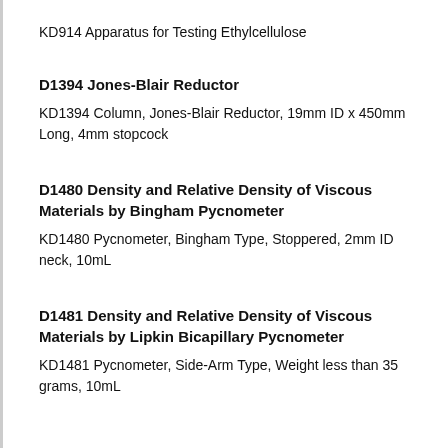KD914 Apparatus for Testing Ethylcellulose
D1394 Jones-Blair Reductor
KD1394 Column, Jones-Blair Reductor, 19mm ID x 450mm Long, 4mm stopcock
D1480 Density and Relative Density of Viscous Materials by Bingham Pycnometer
KD1480 Pycnometer, Bingham Type, Stoppered, 2mm ID neck, 10mL
D1481 Density and Relative Density of Viscous Materials by Lipkin Bicapillary Pycnometer
KD1481 Pycnometer, Side-Arm Type, Weight less than 35 grams, 10mL